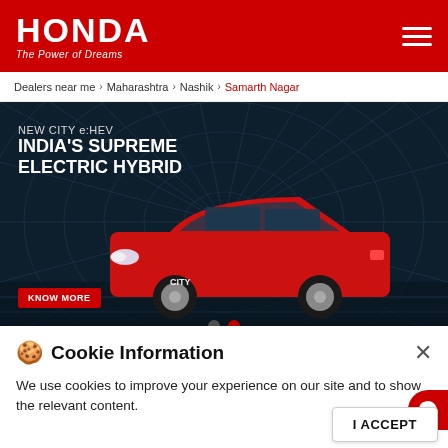[Figure (logo): Honda logo with 'The Power of Dreams' tagline on red header bar with hamburger menu icon]
Dealers near me > Maharashtra > Nashik > Samarth Nagar
[Figure (photo): Honda New City e:HEV promotional banner. Red Honda City sedan driving through a tunnel with lines. Text reads: NEW CITY e:HEV INDIA'S SUPREME ELECTRIC HYBRID. KNOW MORE button. Carousel dots below.]
Cookie Information
We use cookies to improve your experience on our site and to show the relevant content.
I ACCEPT